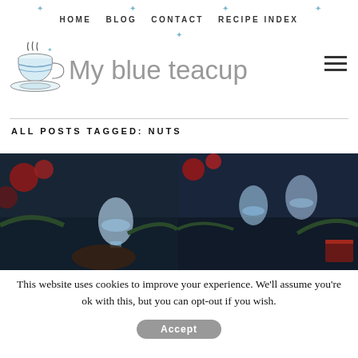HOME   BLOG   CONTACT   RECIPE INDEX
[Figure (logo): My blue teacup blog logo with illustrated steaming blue teacup and handwritten-style text]
ALL POSTS TAGGED: NUTS
[Figure (photo): Two dark moody food/holiday photos side by side showing objects with dark blue background and red accents]
This website uses cookies to improve your experience. We'll assume you're ok with this, but you can opt-out if you wish.
Accept